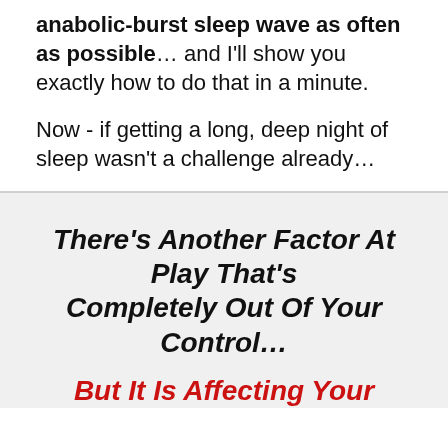anabolic-burst sleep wave as often as possible… and I'll show you exactly how to do that in a minute.
Now - if getting a long, deep night of sleep wasn't a challenge already…
There's Another Factor At Play That's Completely Out Of Your Control…
But It Is Affecting Your